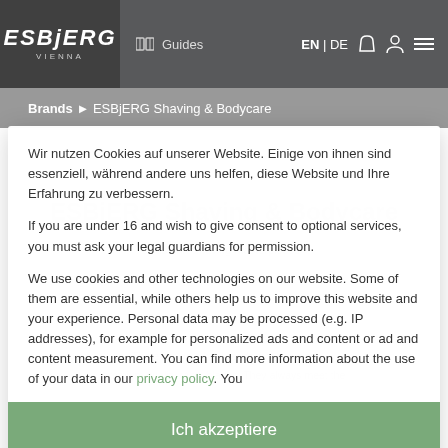ESBJERG VIENNA | Guides | EN | DE
Brands ▶ ESBjERG Shaving & Bodycare
Wir nutzen Cookies auf unserer Website. Einige von ihnen sind essenziell, während andere uns helfen, diese Website und Ihre Erfahrung zu verbessern.
If you are under 16 and wish to give consent to optional services, you must ask your legal guardians for permission.
We use cookies and other technologies on our website. Some of them are essential, while others help us to improve this website and your experience. Personal data may be processed (e.g. IP addresses), for example for personalized ads and content or ad and content measurement. You can find more information about the use of your data in our privacy policy. You
Ich akzeptiere
Individuelle Datenschutzeinstellungen